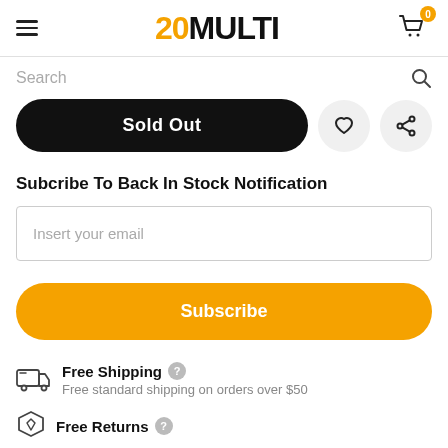20MULTI
Search
Sold Out
Subcribe To Back In Stock Notification
Insert your email
Subscribe
Free Shipping
Free standard shipping on orders over $50
Free Returns